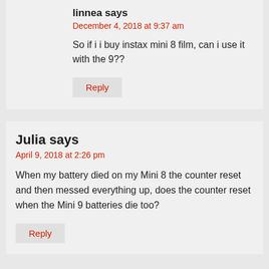linnea says
December 4, 2018 at 9:37 am
So if i i buy instax mini 8 film, can i use it with the 9??
Reply
Julia says
April 9, 2018 at 2:26 pm
When my battery died on my Mini 8 the counter reset and then messed everything up, does the counter reset when the Mini 9 batteries die too?
Reply